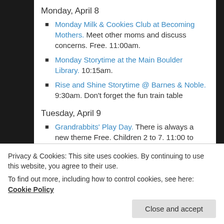Monday, April 8
Monday Milk & Cookies Club at Becoming Mothers. Meet other moms and discuss concerns. Free. 11:00am.
Monday Storytime at the Main Boulder Library. 10:15am.
Rise and Shine Storytime @ Barnes & Noble. 9:30am. Don't forget the fun train table
Tuesday, April 9
Grandrabbits' Play Day. There is always a new theme Free. Children 2 to 7. 11:00 to 11:45am.
Storytime at the George Reynolds Branch Library.
Privacy & Cookies: This site uses cookies. By continuing to use this website, you agree to their use.
To find out more, including how to control cookies, see here: Cookie Policy
Close and accept